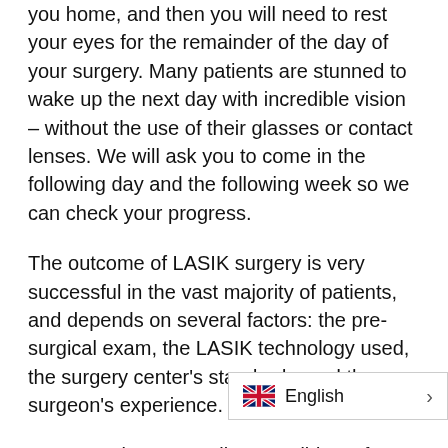you home, and then you will need to rest your eyes for the remainder of the day of your surgery. Many patients are stunned to wake up the next day with incredible vision – without the use of their glasses or contact lenses. We will ask you to come in the following day and the following week so we can check your progress.
The outcome of LASIK surgery is very successful in the vast majority of patients, and depends on several factors: the pre-surgical exam, the LASIK technology used, the surgery center's standards, and the surgeon's experience.
Most people are excellent candidates for LASIK vision correction, but the only way to know for sure if you are a good candidate is to schedule an initial evaluation with one of our Eye Pennsylvania corner specialist